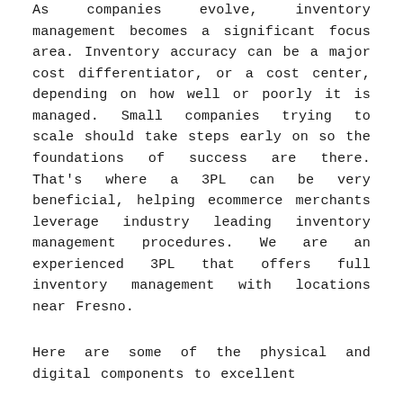As companies evolve, inventory management becomes a significant focus area. Inventory accuracy can be a major cost differentiator, or a cost center, depending on how well or poorly it is managed. Small companies trying to scale should take steps early on so the foundations of success are there. That's where a 3PL can be very beneficial, helping ecommerce merchants leverage industry leading inventory management procedures. We are an experienced 3PL that offers full inventory management with locations near Fresno.
Here are some of the physical and digital components to excellent